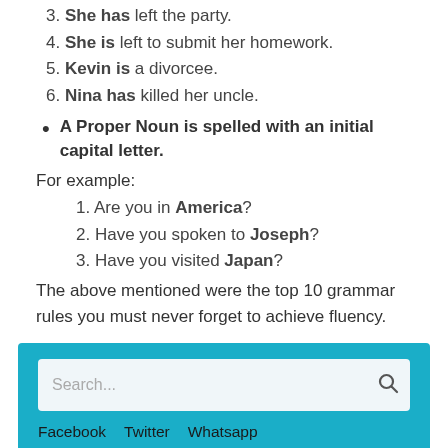3. She has left the party.
4. She is left to submit her homework.
5. Kevin is a divorcee.
6. Nina has killed her uncle.
• A Proper Noun is spelled with an initial capital letter.
For example:
1. Are you in America?
2. Have you spoken to Joseph?
3. Have you visited Japan?
The above mentioned were the top 10 grammar rules you must never forget to achieve fluency.
[Figure (screenshot): Blue search widget with search bar showing placeholder text 'Search...' and a search icon, followed by Facebook, Twitter, Whatsapp social links, and a white bar at the bottom.]